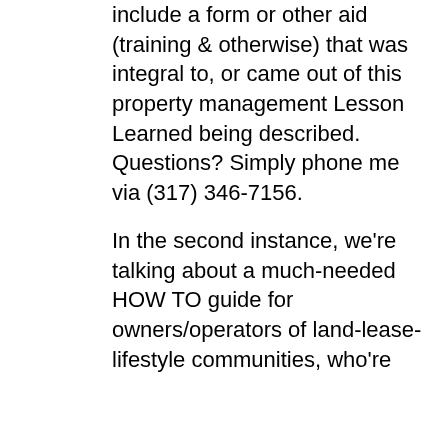include a form or other aid (training & otherwise) that was integral to, or came out of this property management Lesson Learned being described. Questions? Simply phone me via (317) 346-7156.
In the second instance, we're talking about a much-needed HOW TO guide for owners/operators of land-lease-lifestyle communities, who're